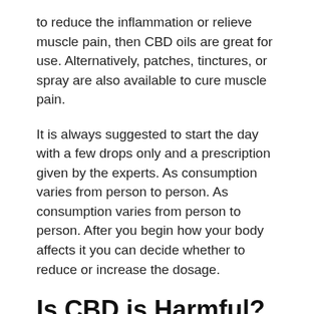to reduce the inflammation or relieve muscle pain, then CBD oils are great for use. Alternatively, patches, tinctures, or spray are also available to cure muscle pain.
It is always suggested to start the day with a few drops only and a prescription given by the experts. As consumption varies from person to person. As consumption varies from person to person. After you begin how your body affects it you can decide whether to reduce or increase the dosage.
Is CBD is Harmful?
The FDA has not taken the steps to regulate the production of CBD-based products. When you consume the pure CBD derived from hemp is safe